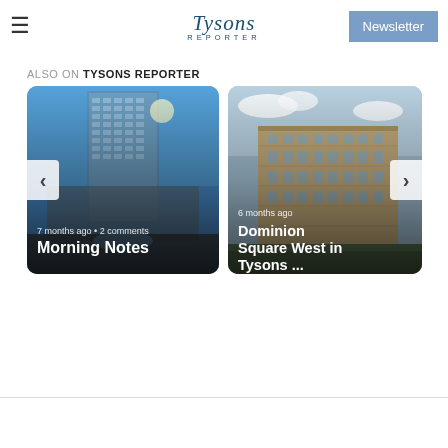Tysons Reporter — Newsletter
ALSO ON TYSONS REPORTER
[Figure (photo): Card image of a modern glass skyscraper building with text '7 months ago • 2 comments' and title 'Morning Notes']
[Figure (photo): Card image of an apartment/hotel building 'Dominion Square West' with text '6 months ago' and title 'Dominion Square West in Tysons ...']